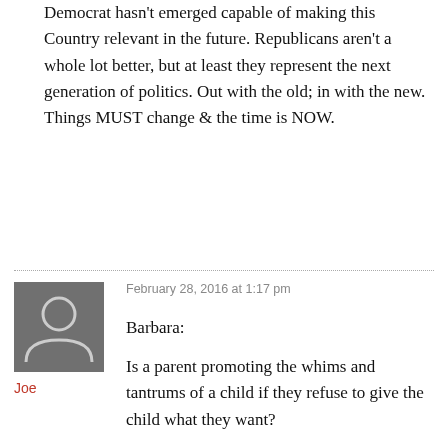Democrat hasn't emerged capable of making this Country relevant in the future. Republicans aren't a whole lot better, but at least they represent the next generation of politics. Out with the old; in with the new. Things MUST change & the time is NOW.
February 28, 2016 at 1:17 pm
Barbara:
Joe
Is a parent promoting the whims and tantrums of a child if they refuse to give the child what they want?
I agree that the Democrats have no vision, but the Republican vision is globalization